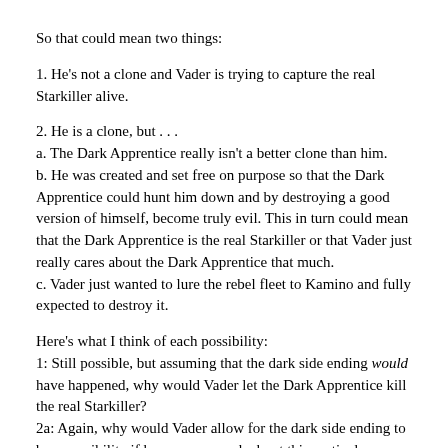So that could mean two things:
1. He's not a clone and Vader is trying to capture the real Starkiller alive.
2. He is a clone, but . . .
a. The Dark Apprentice really isn't a better clone than him.
b. He was created and set free on purpose so that the Dark Apprentice could hunt him down and by destroying a good version of himself, become truly evil. This in turn could mean that the Dark Apprentice is the real Starkiller or that Vader just really cares about the Dark Apprentice that much.
c. Vader just wanted to lure the rebel fleet to Kamino and fully expected to destroy it.
Here's what I think of each possibility:
1: Still possible, but assuming that the dark side ending would have happened, why would Vader let the Dark Apprentice kill the real Starkiller?
2a: Again, why would Vader allow for the dark side ending to be a possibility if he cares so much about this particular clone?